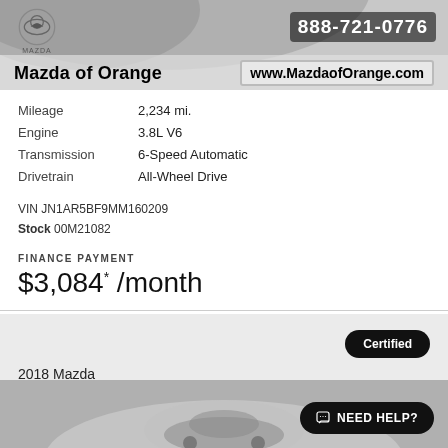888-721-0776
Mazda of Orange    www.MazdaofOrange.com
| Property | Value |
| --- | --- |
| Mileage | 2,234 mi. |
| Engine | 3.8L V6 |
| Transmission | 6-Speed Automatic |
| Drivetrain | All-Wheel Drive |
VIN JN1AR5BF9MM160209
Stock 00M21082
FINANCE PAYMENT
$3,084* /month
Certified
2018 Mazda
MAZDA CX-5 TOURING
NEED HELP?
[Figure (photo): Car dealership listing header with Mazda logo and vehicle photo background]